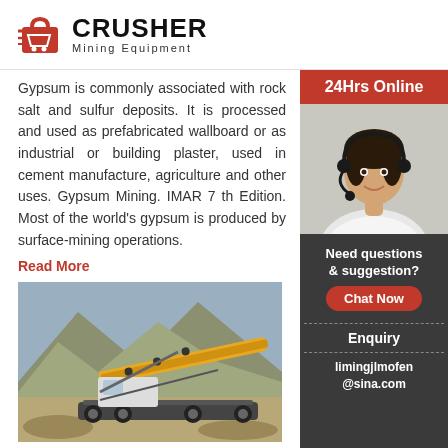CRUSHER Mining Equipment
Gypsum is commonly associated with rock salt and sulfur deposits. It is processed and used as prefabricated wallboard or as industrial or building plaster, used in cement manufacture, agriculture and other uses. Gypsum Mining. IMAR 7 th Edition. Most of the world's gypsum is produced by surface-mining operations.
Read More
[Figure (photo): Mining machine / crusher on construction site with rocky terrain and mountains in background]
mining machines construction
Development of Mining Machinery and Future D... Development of Mining Machinery and Future D... Electrifiion 101 Machinery also placed an emph... this period on incorporating feedback from the m...
[Figure (photo): Woman with headset smiling - 24Hrs Online customer service representative]
Need questions & suggestion?
Chat Now
Enquiry
limingjlmofen@sina.com